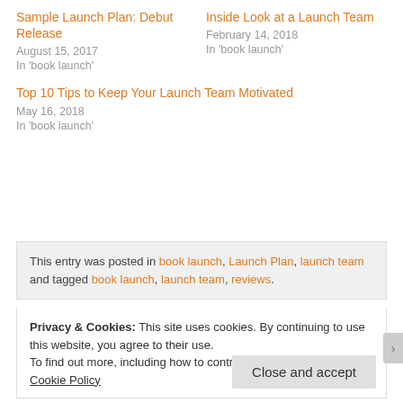Sample Launch Plan: Debut Release
August 15, 2017
In 'book launch'
Inside Look at a Launch Team
February 14, 2018
In 'book launch'
Top 10 Tips to Keep Your Launch Team Motivated
May 16, 2018
In 'book launch'
This entry was posted in book launch, Launch Plan, launch team and tagged book launch, launch team, reviews.
Privacy & Cookies: This site uses cookies. By continuing to use this website, you agree to their use.
To find out more, including how to control cookies, see here: Cookie Policy
Close and accept